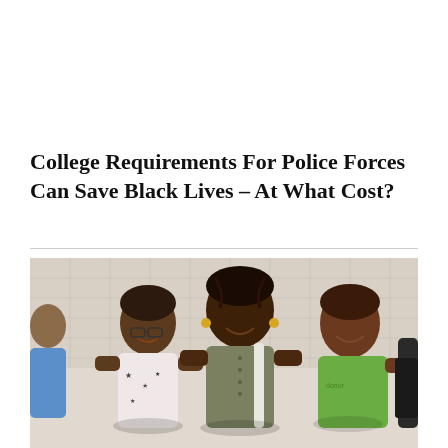College Requirements For Police Forces Can Save Black Lives – At What Cost?
[Figure (photo): Three young Black children smiling, standing in a hallway with a tiled wall background. The child on the left wears glasses and a white top with star pattern. The child in the middle wears an olive/grey top with a white backpack strap. The child on the right wears a green shirt. A fourth child is partially visible on the far left.]